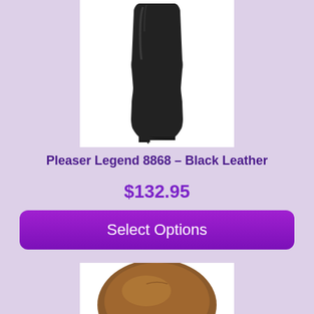[Figure (photo): Black leather thigh-high boot with stiletto heel on white background]
Pleaser Legend 8868 – Black Leather
$132.95
Select Options
[Figure (photo): Close-up of brown/tan rounded toe of a shoe on white background]